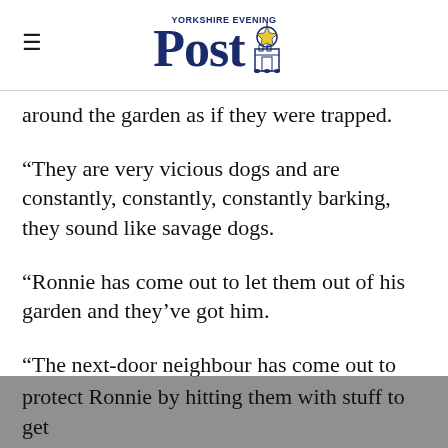Yorkshire Evening Post
around the garden as if they were trapped.
“They are very vicious dogs and are constantly, constantly, constantly barking, they sound like savage dogs.
“Ronnie has come out to let them out of his garden and they’ve got him.
“The next-door neighbour has come out to protect Ronnie by hitting them with stuff to get